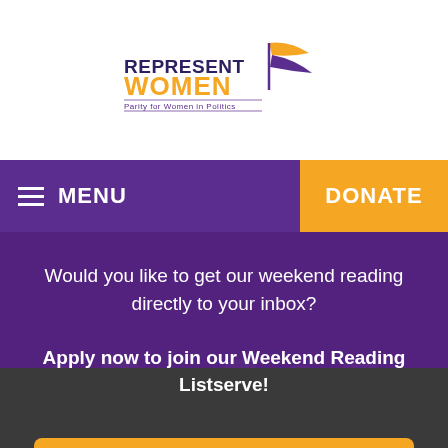[Figure (logo): RepresentWomen logo — 'REPRESENT' in dark navy/purple, 'WOMEN' in orange, tagline 'Parity for Women in Politics', with a stylized flag swoosh graphic]
MENU
DONATE
Would you like to get our weekend reading directly to your inbox?
Apply now to join our Weekend Reading Listserve!
JOIN THE LISTSERVE